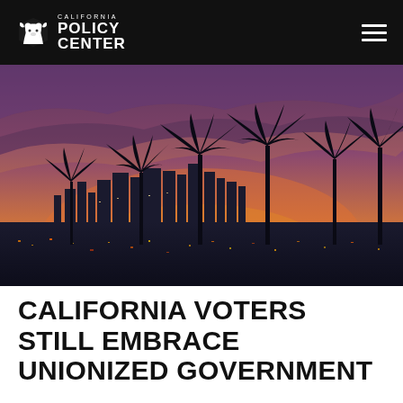California Policy Center
[Figure (photo): Aerial cityscape of Los Angeles at sunset/dusk with palm tree silhouettes in the foreground and downtown skyscrapers in the background, with a dramatic orange and purple sky]
CALIFORNIA VOTERS STILL EMBRACE UNIONIZED GOVERNMENT